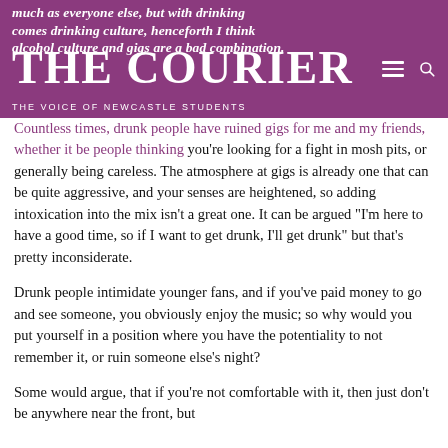THE COURIER — THE VOICE OF NEWCASTLE STUDENTS
much as everyone else, but with drinking comes drinking culture, henceforth I think alcohol culture and gigs are a bad combination.
Countless times, drunk people have ruined gigs for me and my friends, whether it be people thinking you're looking for a fight in mosh pits, or generally being careless. The atmosphere at gigs is already one that can be quite aggressive, and your senses are heightened, so adding intoxication into the mix isn't a great one. It can be argued "I'm here to have a good time, so if I want to get drunk, I'll get drunk" but that's pretty inconsiderate.
Drunk people intimidate younger fans, and if you've paid money to go and see someone, you obviously enjoy the music; so why would you put yourself in a position where you have the potentiality to not remember it, or ruin someone else's night?
Some would argue, that if you're not comfortable with it, then just don't be anywhere near the front, but you absolutely have to resist the urge to give in to...